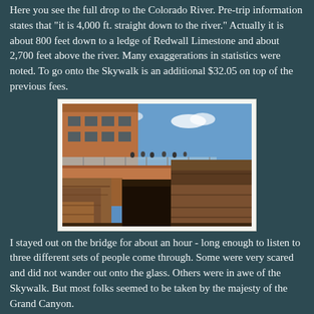Here you see the full drop to the Colorado River. Pre-trip information states that "it is 4,000 ft. straight down to the river." Actually it is about 800 feet down to a ledge of Redwall Limestone and about 2,700 feet above the river. Many exaggerations in statistics were noted. To go onto the Skywalk is an additional $32.05 on top of the previous fees.
[Figure (photo): Photograph of the Grand Canyon Skywalk, a glass-floored observation bridge extending over the canyon edge, with visitors on top, a building structure on the left, and dramatic canyon rock walls and blue sky in the background.]
I stayed out on the bridge for about an hour - long enough to listen to three different sets of people come through. Some were very scared and did not wander out onto the glass. Others were in awe of the Skywalk. But most folks seemed to be taken by the majesty of the Grand Canyon.